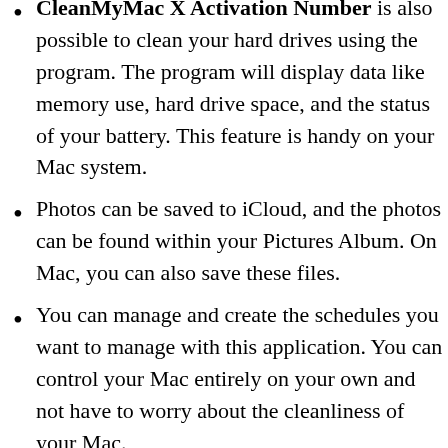CleanMyMac X Activation Number is also possible to clean your hard drives using the program. The program will display data like memory use, hard drive space, and the status of your battery. This feature is handy on your Mac system.
Photos can be saved to iCloud, and the photos can be found within your Pictures Album. On Mac, you can also save these files.
You can manage and create the schedules you want to manage with this application. You can control your Mac entirely on your own and not have to worry about the cleanliness of your Mac.